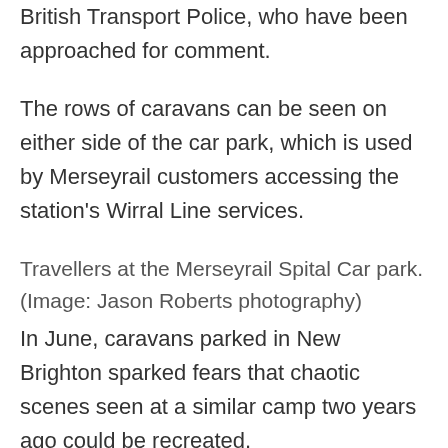British Transport Police, who have been approached for comment.
The rows of caravans can be seen on either side of the car park, which is used by Merseyrail customers accessing the station's Wirral Line services.
Travellers at the Merseyrail Spital Car park. (Image: Jason Roberts photography)
In June, caravans parked in New Brighton sparked fears that chaotic scenes seen at a similar camp two years ago could be recreated.
Travellers had parked two caravans at The Dips but they left following “swift action”